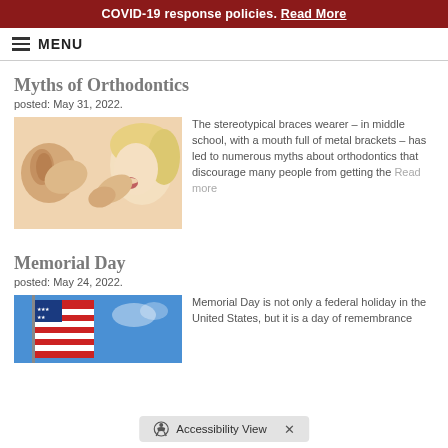COVID-19 response policies. Read More
MENU
Myths of Orthodontics
posted: May 31, 2022.
[Figure (photo): Two women facing each other, one whispering into the other's ear, hands cupped around mouth]
The stereotypical braces wearer – in middle school, with a mouth full of metal brackets – has led to numerous myths about orthodontics that discourage many people from getting the Read more
Memorial Day
posted: May 24, 2022.
[Figure (photo): American flag waving against a blue sky]
Memorial Day is not only a federal holiday in the United States, but it is a day of remembrance
Accessibility View